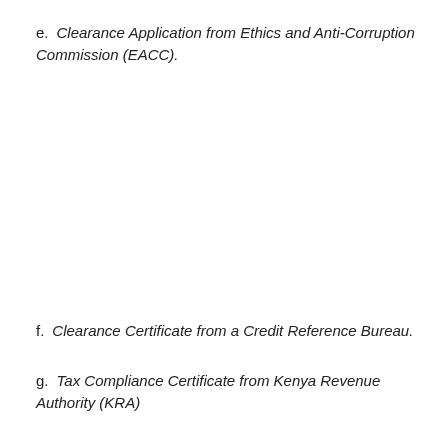e.   Clearance Application from Ethics and Anti-Corruption Commission (EACC).
f.   Clearance Certificate from a Credit Reference Bureau.
g.   Tax Compliance Certificate from Kenya Revenue Authority (KRA)